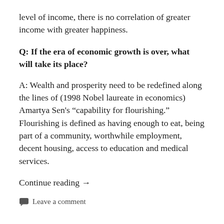level of income, there is no correlation of greater income with greater happiness.
Q: If the era of economic growth is over, what will take its place?
A: Wealth and prosperity need to be redefined along the lines of (1998 Nobel laureate in economics) Amartya Sen’s “capability for flourishing.” Flourishing is defined as having enough to eat, being part of a community, worthwhile employment, decent housing, access to education and medical services.
Continue reading →
Leave a comment